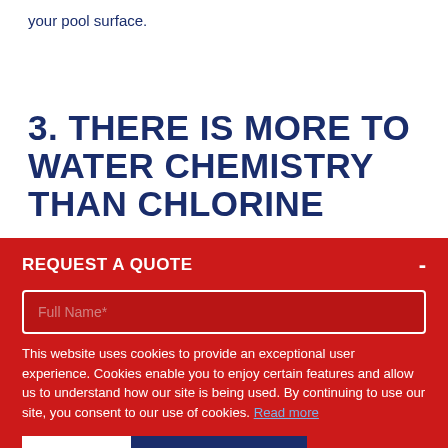your pool surface.
3. THERE IS MORE TO WATER CHEMISTRY THAN CHLORINE
REQUEST A QUOTE
Full Name*
This website uses cookies to provide an exceptional user experience. Cookies enable you to enjoy certain features and allow us to understand how our site is being used. By continuing to use our site, you consent to our use of cookies. Read more
Decline
Accept Cookies
START YOUR QUOTE